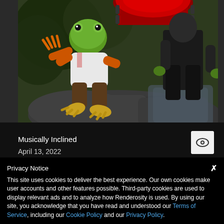[Figure (photo): A 3D rendered scene showing an anthropomorphic frog character in brown pants and white shirt with orange hands/feet, climbing or leaning on dark rocks, with a large red guitar scroll visible at the top. Another humanoid figure in dark clothing is visible to the right.]
Musically Inclined
April 13, 2022
Privacy Notice
This site uses cookies to deliver the best experience. Our own cookies make user accounts and other features possible. Third-party cookies are used to display relevant ads and to analyze how Renderosity is used. By using our site, you acknowledge that you have read and understood our Terms of Service, including our Cookie Policy and our Privacy Policy.